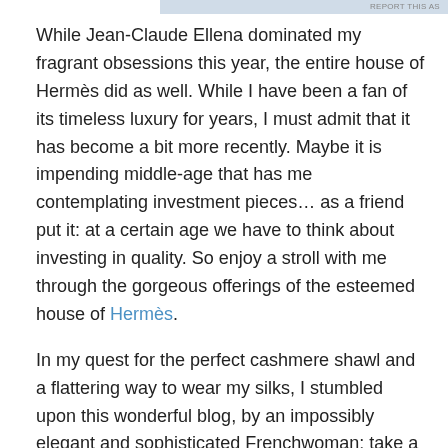REPORT THIS AS
While Jean-Claude Ellena dominated my fragrant obsessions this year, the entire house of Hermès did as well. While I have been a fan of its timeless luxury for years, I must admit that it has become a bit more recently. Maybe it is impending middle-age that has me contemplating investment pieces… as a friend put it: at a certain age we have to think about investing in quality. So enjoy a stroll with me through the gorgeous offerings of the esteemed house of Hermès.
In my quest for the perfect cashmere shawl and a flattering way to wear my silks, I stumbled upon this wonderful blog, by an impossibly elegant and sophisticated Frenchwoman: take a look at MaiTai's Picturebook.